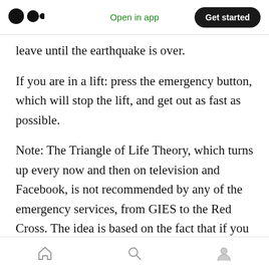Open in app  Get started
leave until the earthquake is over.
If you are in a lift: press the emergency button, which will stop the lift, and get out as fast as possible.
Note: The Triangle of Life Theory, which turns up every now and then on television and Facebook, is not recommended by any of the emergency services, from GIES to the Red Cross. The idea is based on the fact that if you create a pyramid from furniture you will have a safe space around you. While this might be useful in
Home  Search  Profile